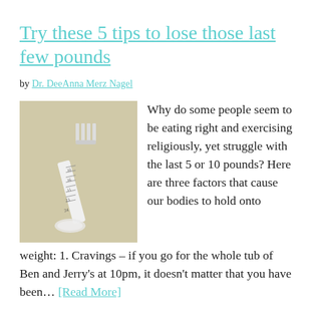Try these 5 tips to lose those last few pounds
by Dr. DeeAnna Merz Nagel
[Figure (photo): A fork wrapped with a measuring tape on a beige/tan background]
Why do some people seem to be eating right and exercising religiously, yet struggle with the last 5 or 10 pounds? Here are three factors that cause our bodies to hold onto weight: 1. Cravings – if you go for the whole tub of Ben and Jerry's at 10pm, it doesn't matter that you have been… [Read More]